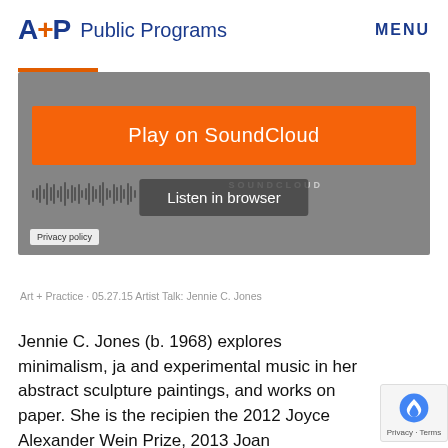A+P Public Programs   MENU
[Figure (screenshot): SoundCloud embedded audio player with orange 'Play on SoundCloud' button, waveform, and 'Listen in browser' button on grey background. Privacy policy tag visible at bottom left.]
Art + Practice · 05.27.15 Artist Talk: Jennie C. Jones
Jennie C. Jones (b. 1968) explores minimalism, ja and experimental music in her abstract sculpture paintings, and works on paper. She is the recipien the 2012 Joyce Alexander Wein Prize, 2013 Joan